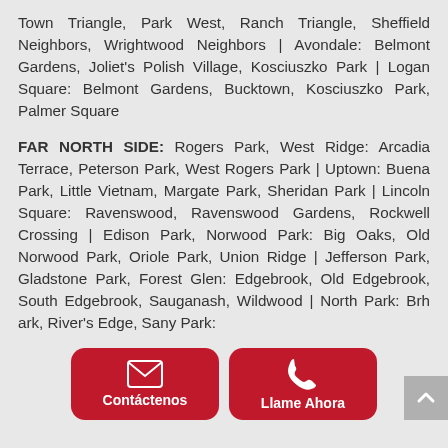Town Triangle, Park West, Ranch Triangle, Sheffield Neighbors, Wrightwood Neighbors | Avondale: Belmont Gardens, Joliet's Polish Village, Kosciuszko Park | Logan Square: Belmont Gardens, Bucktown, Kosciuszko Park, Palmer Square
FAR NORTH SIDE: Rogers Park, West Ridge: Arcadia Terrace, Peterson Park, West Rogers Park | Uptown: Buena Park, Little Vietnam, Margate Park, Sheridan Park | Lincoln Square: Ravenswood, Ravenswood Gardens, Rockwell Crossing | Edison Park, Norwood Park: Big Oaks, Old Norwood Park, Oriole Park, Union Ridge | Jefferson Park, Gladstone Park, Forest Glen: Edgebrook, Old Edgebrook, South Edgebrook, Sauganash, Wildwood | North Park: Br[...]h[...]ark, River's Edge, S[...]any Park:
[Figure (other): Two red rounded-rectangle buttons overlaid at bottom center: 'Contáctenos' (with envelope icon) and 'Llame Ahora' (with phone icon). A grey scroll-to-top button is at the bottom right.]